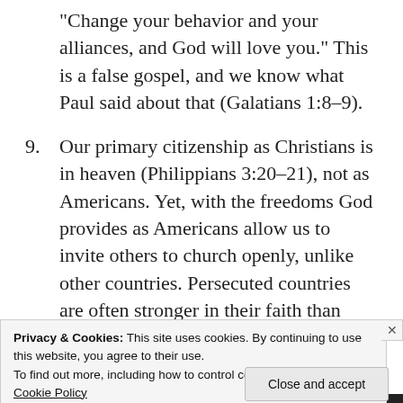“Change your behavior and your alliances, and God will love you.” This is a false gospel, and we know what Paul said about that (Galatians 1:8–9).
9. Our primary citizenship as Christians is in heaven (Philippians 3:20–21), not as Americans. Yet, with the freedoms God provides as Americans allow us to invite others to church openly, unlike other countries. Persecuted countries are often stronger in their faith than those in free
Privacy & Cookies: This site uses cookies. By continuing to use this website, you agree to their use.
To find out more, including how to control cookies, see here: Cookie Policy
Close and accept